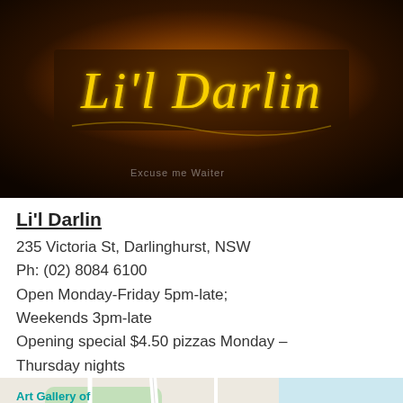[Figure (photo): Photo of Li'l Darlin restaurant sign illuminated in gold neon lettering against a dark warm-toned background. Text at bottom reads 'Excuse me Waiter']
Li'l Darlin
235 Victoria St, Darlinghurst, NSW
Ph: (02) 8084 6100
Open Monday-Friday 5pm-late; Weekends 3pm-late
Opening special $4.50 pizzas Monday – Thursday nights
[Figure (map): Google Maps showing area around Darlinghurst NSW including Art Gallery of New South Wales, St Mary's Cathedral, Potts Point, Elizabeth Bay, Rushcutters Bay, Park St, Crown St, and Australian Museum landmarks.]